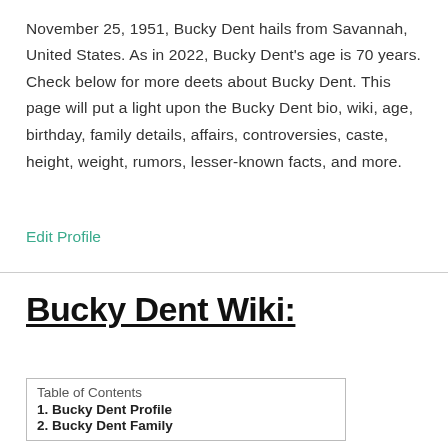November 25, 1951, Bucky Dent hails from Savannah, United States. As in 2022, Bucky Dent's age is 70 years. Check below for more deets about Bucky Dent. This page will put a light upon the Bucky Dent bio, wiki, age, birthday, family details, affairs, controversies, caste, height, weight, rumors, lesser-known facts, and more.
Edit Profile
Bucky Dent Wiki:
| Table of Contents |
| --- |
| 1. Bucky Dent Profile |
| 2. Bucky Dent Family |